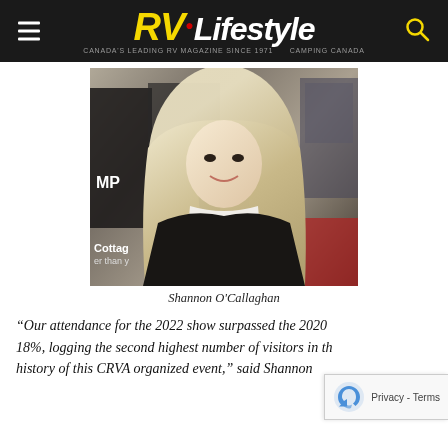RV Lifestyle — Canada's Leading RV Magazine Since 1971 · Camping Canada
[Figure (photo): Shannon O'Callaghan, a woman with long blonde wavy hair wearing a white turtleneck and black blazer, smiling at an expo/show venue with banners visible in the background including 'Cottage' and 'PLA'.]
Shannon O'Callaghan
“Our attendance for the 2022 show surpassed the 2020 18%, logging the second highest number of visitors in the history of this CRVA organized event,” said Shannon